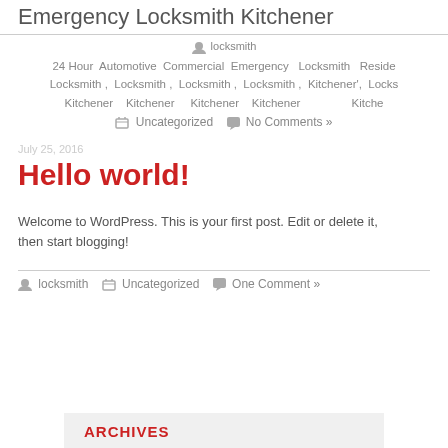Emergency Locksmith Kitchener
locksmith  24 Hour Locksmith, Kitchener  Automotive Locksmith ,  Kitchener  Commercial Locksmith ,  Kitchener  Emergency Locksmith ,  Kitchener  Locksmith Kitchener,  Residential Locksmith, Kitchener
Uncategorized  No Comments »
Hello world!
Welcome to WordPress. This is your first post. Edit or delete it, then start blogging!
locksmith  Uncategorized  One Comment »
ARCHIVES